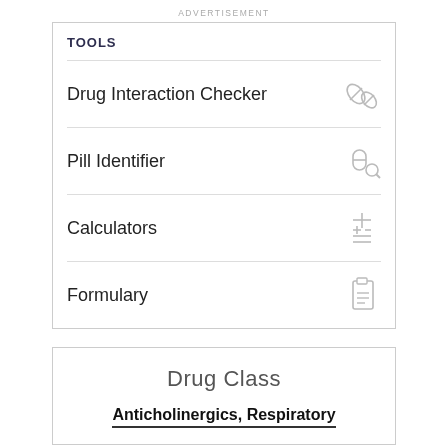ADVERTISEMENT
TOOLS
Drug Interaction Checker
Pill Identifier
Calculators
Formulary
Drug Class
Anticholinergics, Respiratory